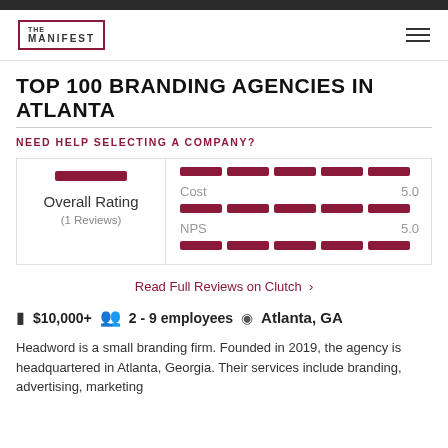THE MANIFEST
TOP 100 BRANDING AGENCIES IN ATLANTA
NEED HELP SELECTING A COMPANY?
Overall Rating (1 Reviews) | Cost 5.0 | NPS 5.0
Read Full Reviews on Clutch
$10,000+  2 - 9 employees  Atlanta, GA
Headword is a small branding firm. Founded in 2019, the agency is headquartered in Atlanta, Georgia. Their services include branding, advertising, marketing